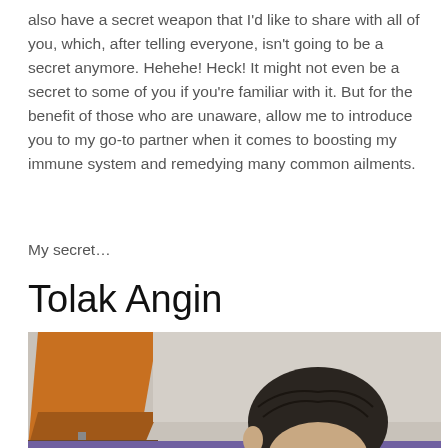also have a secret weapon that I'd like to share with all of you, which, after telling everyone, isn't going to be a secret anymore. Hehehe! Heck! It might not even be a secret to some of you if you're familiar with it. But for the benefit of those who are unaware, allow me to introduce you to my go-to partner when it comes to boosting my immune system and remedying many common ailments.
My secret…
Tolak Angin
[Figure (photo): Photo of a person (top of head with dark curly hair visible) sitting in a room with an orange lamp shade on the left side and a beige/grey wall in the background.]